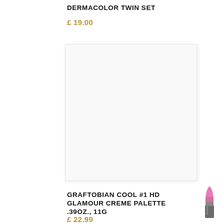DERMACOLOR TWIN SET
£ 19.00
[Figure (photo): Product image placeholder — white/light grey square box for Dermacolor Twin Set product]
GRAFTOBIAN COOL #1 HD GLAMOUR CREME PALETTE .39OZ., 11G
[Figure (illustration): Small pink lipstick icon/illustration in bottom right area]
£ 22.99